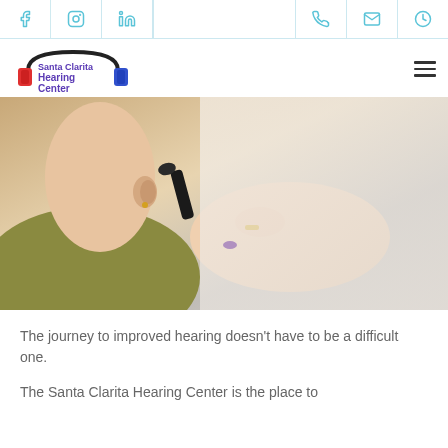Social media icons (Facebook, Instagram, LinkedIn) and contact icons (phone, email, clock)
[Figure (logo): Santa Clarita Hearing Center logo with headphones graphic]
[Figure (photo): Close-up photo of a medical professional using an otoscope to examine a patient's ear]
The journey to improved hearing doesn't have to be a difficult one.
The Santa Clarita Hearing Center is the place to